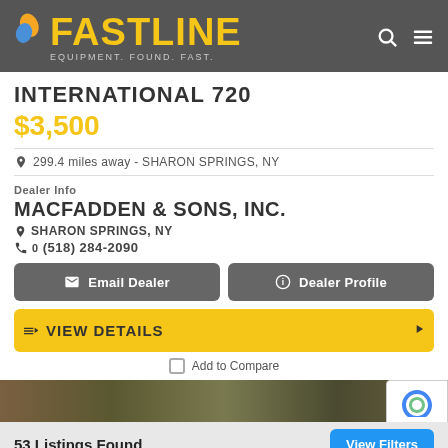FASTLINE - EQUIPMENT. FOUND. FAST.
INTERNATIONAL 720
$3,500
299.4 miles away - SHARON SPRINGS, NY
Dealer Info
MACFADDEN & SONS, INC.
SHARON SPRINGS, NY
(518) 284-2090
Email Dealer
Dealer Profile
VIEW DETAILS
Add to Compare
53 Listings Found   View Filters